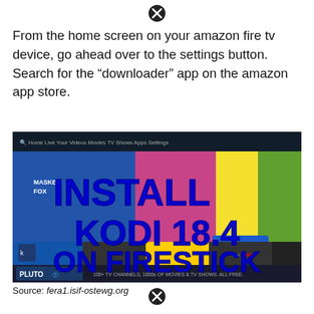[Figure (other): Close/X button icon at top center of page]
From the home screen on your amazon fire tv device, go ahead over to the settings button. Search for the “downloader” app on the amazon app store.
[Figure (screenshot): Screenshot of Amazon Fire TV home screen with overlay text reading 'INSTALL KODI 18.4 ON FIRESTICK' in large bold blue letters. The screen shows the Fire TV interface with categories: Home, Live, Your Videos, Movies, TV Shows, Apps, Settings. Various streaming app icons visible including Masked Singer on FOX, Kodi, Pluto TV, YouTube, and others. A Downloader button is visible. Bottom bar shows Pluto TV ad: '100+ TV CHANNELS, 1000s OF MOVIES & TV SHOWS. ALL FREE.']
Source: fera1.isif-ostewg.org
[Figure (other): Close/X button icon at bottom center of page]